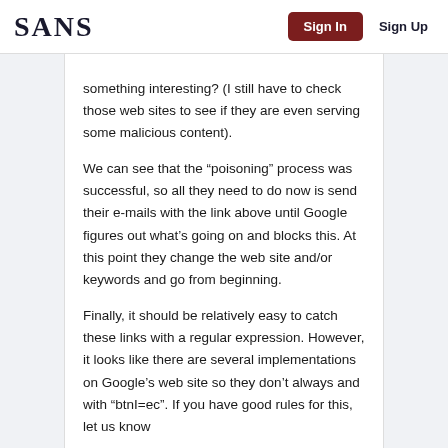SANS  Sign In  Sign Up
something interesting? (I still have to check those web sites to see if they are even serving some malicious content). We can see that the “poisoning” process was successful, so all they need to do now is send their e-mails with the link above until Google figures out what’s going on and blocks this. At this point they change the web site and/or keywords and go from beginning. Finally, it should be relatively easy to catch these links with a regular expression. However, it looks like there are several implementations on Google’s web site so they don’t always and with “btnI=ec”. If you have good rules for this, let us know